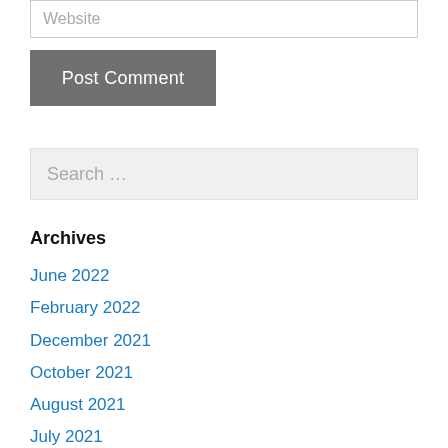Website
Post Comment
Search …
Archives
June 2022
February 2022
December 2021
October 2021
August 2021
July 2021